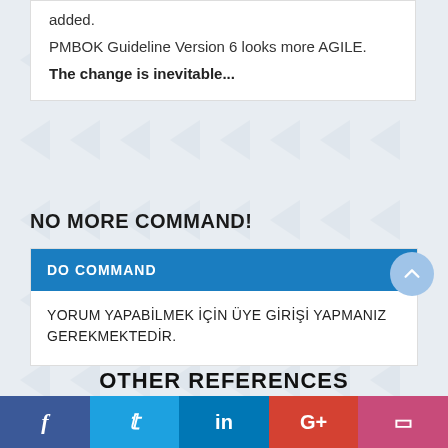added.
PMBOK Guideline Version 6 looks more AGILE.
The change is inevitable...
NO MORE COMMAND!
DO COMMAND
YORUM YAPABİLMEK İÇİN ÜYE GİRİŞİ YAPMANIZ GEREKMEKTEDİR.
OTHER REFERENCES
f  🐦  in  G+  🔲